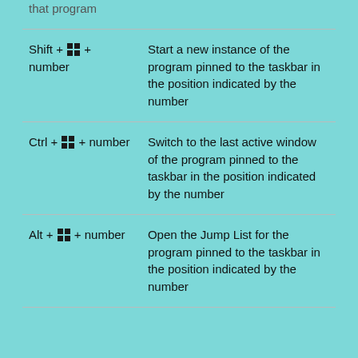| Shortcut | Description |
| --- | --- |
| Shift + [Win] + number | Start a new instance of the program pinned to the taskbar in the position indicated by the number |
| Ctrl + [Win] + number | Switch to the last active window of the program pinned to the taskbar in the position indicated by the number |
| Alt + [Win] + number | Open the Jump List for the program pinned to the taskbar in the position indicated by the number |